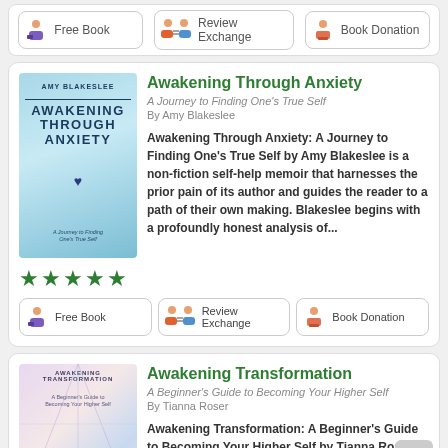[Figure (screenshot): Top partial bar showing Free Book, Review Exchange, Book Donation action buttons]
[Figure (screenshot): Book card for Awakening Through Anxiety by Amy Blakeslee with cover image, description, 5-star rating, and action buttons]
Awakening Through Anxiety
A Journey to Finding One's True Self
By Amy Blakeslee
Awakening Through Anxiety: A Journey to Finding One's True Self by Amy Blakeslee is a non-fiction self-help memoir that harnesses the prior pain of its author and guides the reader to a path of their own making. Blakeslee begins with a profoundly honest analysis of...
[Figure (screenshot): Book card for Awakening Transformation by Tianna Roser with cover image, partial description]
Awakening Transformation
A Beginner's Guide to Becoming Your Higher Self
By Tianna Roser
Awakening Transformation: A Beginner's Guide to Becoming Your Higher Self by Tianna Roser is a non-fiction spiritual philosophy self-help guide for readers looking for